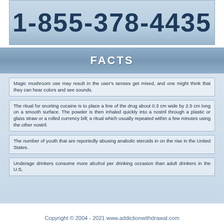[Figure (other): Phone number banner showing 1-855-378-4435 on a light blue gradient background]
FACTS
Magic mushroom use may result in the user's senses get mixed, and one might think that they can hear colors and see sounds.
The ritual for snorting cocaine is to place a line of the drug about 0.3 cm wide by 2.5 cm long on a smooth surface. The powder is then inhaled quickly into a nostril through a plastic or glass straw or a rolled currency bill; a ritual which usually repeated within a few minutes using the other nostril.
The number of youth that are reportedly abusing anabolic steroids in on the rise in the United States.
Underage drinkers consume more alcohol per drinking occasion than adult drinkers in the U.S,
Copyright © 2004 - 2021 www.addictionwithdrawal.com